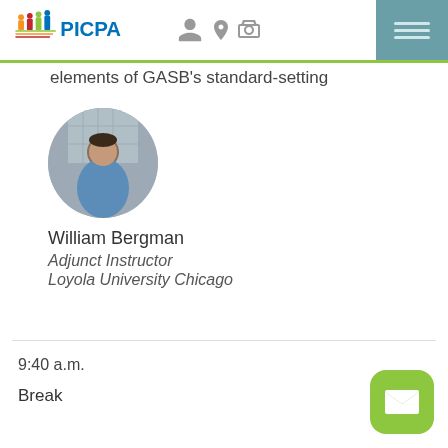PICPA
elements of GASB's standard-setting
[Figure (photo): Circular headshot of William Bergman, a man in a blue shirt outdoors with a building in the background]
William Bergman
Adjunct Instructor
Loyola University Chicago
9:40 a.m.
Break